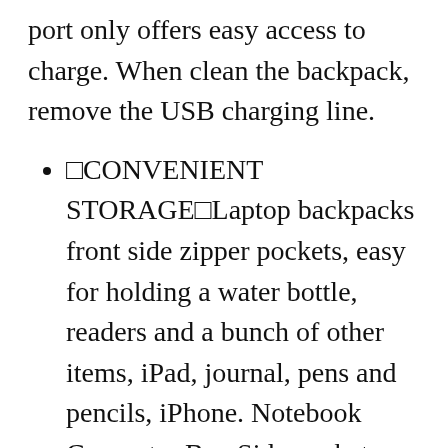port only offers easy access to charge. When clean the backpack, remove the USB charging line.
🔲CONVENIENT STORAGE🔲Laptop backpacks front side zipper pockets, easy for holding a water bottle, readers and a bunch of other items, iPad, journal, pens and pencils, iPhone. Notebook Computer Bag Side pocket accommodates compact umbrellas and other small items.
🔲STORAGE SPACE&POCKETS🔲One separate laptop compartment hold 15.6 Inch Laptop as well as 15 Inch,14 Inch and 13 Inch Laptop. One spacious